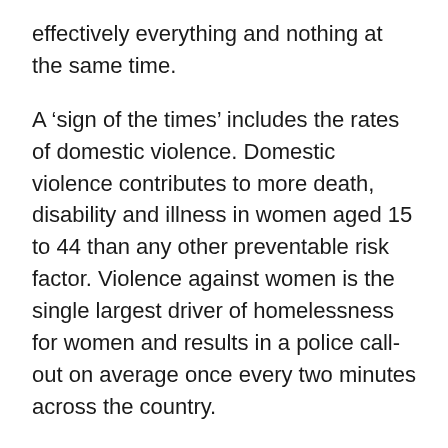effectively everything and nothing at the same time.
A ‘sign of the times’ includes the rates of domestic violence. Domestic violence contributes to more death, disability and illness in women aged 15 to 44 than any other preventable risk factor. Violence against women is the single largest driver of homelessness for women and results in a police call-out on average once every two minutes across the country.
Cohabitation is becoming a social norm, with 76% of marriages now preceded by couples living together, and 75% of Australian marriages are civil celebrations (and only about 8% are Catholic marriages, involving at least one partner who is Catholic).
There is also a greater degree of mobility among